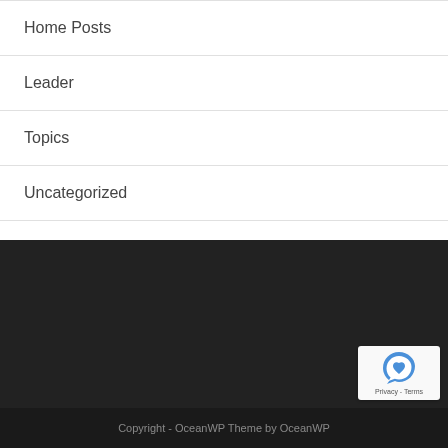Home Posts
Leader
Topics
Uncategorized
Copyright - OceanWP Theme by OceanWP